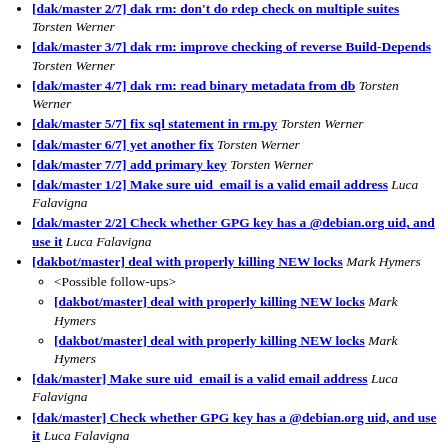[dak/master 2/7] dak rm: don't do rdep check on multiple suites Torsten Werner
[dak/master 3/7] dak rm: improve checking of reverse Build-Depends Torsten Werner
[dak/master 4/7] dak rm: read binary metadata from db Torsten Werner
[dak/master 5/7] fix sql statement in rm.py Torsten Werner
[dak/master 6/7] yet another fix Torsten Werner
[dak/master 7/7] add primary key Torsten Werner
[dak/master 1/2] Make sure uid email is a valid email address Luca Falavigna
[dak/master 2/2] Check whether GPG key has a @debian.org uid, and use it Luca Falavigna
[dakbot/master] deal with properly killing NEW locks Mark Hymers
<Possible follow-ups>
[dakbot/master] deal with properly killing NEW locks Mark Hymers
[dakbot/master] deal with properly killing NEW locks Mark Hymers
[dak/master] Make sure uid email is a valid email address Luca Falavigna
[dak/master] Check whether GPG key has a @debian.org uid, and use it Luca Falavigna
[dakbot/master] Let bot display current phase when